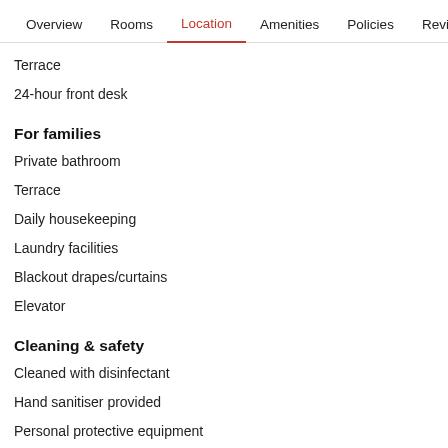Overview  Rooms  Location  Amenities  Policies  Reviews
Terrace
24-hour front desk
For families
Private bathroom
Terrace
Daily housekeeping
Laundry facilities
Blackout drapes/curtains
Elevator
Cleaning & safety
Cleaned with disinfectant
Hand sanitiser provided
Personal protective equipment
Social distancing